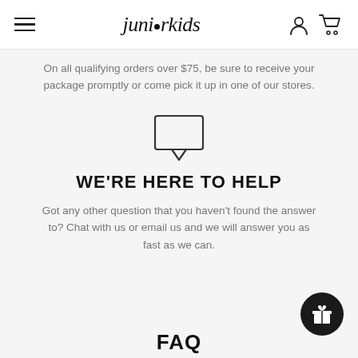juniorkids
On all qualifying orders over $75, be sure to receive your package promptly or come pick it up in one of our stores.
[Figure (illustration): Chat/speech bubble icon outline]
WE'RE HERE TO HELP
Got any other question that you haven't found the answer to? Chat with us or email us and we will answer you as fast as we can.
FAQ